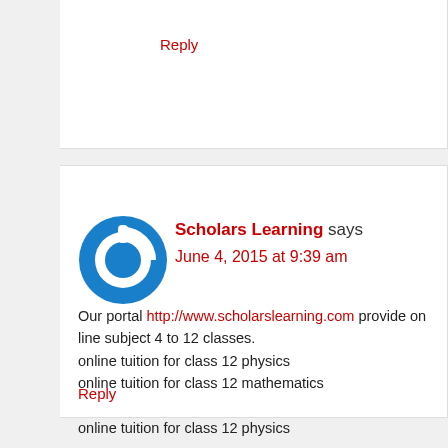Reply
Scholars Learning says
June 4, 2015 at 9:39 am
Our portal http://www.scholarslearning.com provide on line subject 4 to 12 classes.
online tuition for class 12 physics
online tuition for class 12 mathematics

online tuition for class 12 physics
Reply